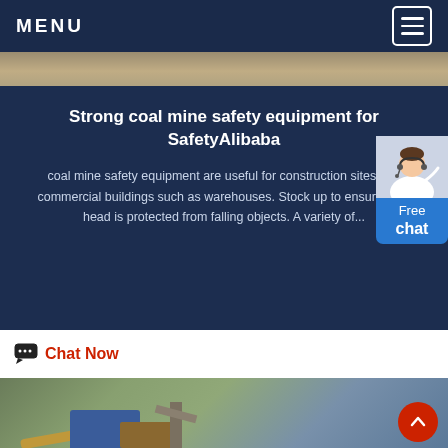MENU
[Figure (photo): Outdoor dirt/gravel landscape photo strip at top]
Strong coal mine safety equipment for SafetyAlibaba
coal mine safety equipment are useful for construction sites and commercial buildings such as warehouses. Stock up to ensure your head is protected from falling objects. A variety of...
[Figure (illustration): Free chat widget with avatar and blue button labeled 'Free chat']
Chat Now
[Figure (photo): Outdoor industrial mining machinery photo at bottom of page]